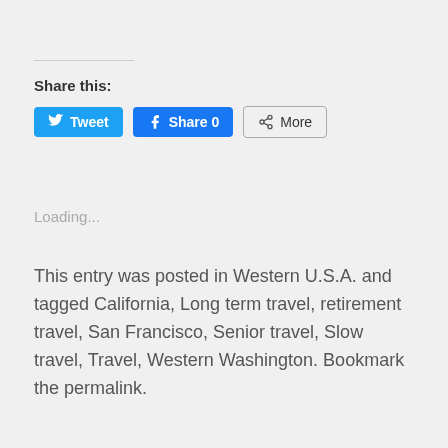Share this:
[Figure (screenshot): Social share buttons: Tweet (blue, Twitter bird icon), Share 0 (blue, Facebook icon), More (outlined, share icon)]
Loading...
This entry was posted in Western U.S.A. and tagged California, Long term travel, retirement travel, San Francisco, Senior travel, Slow travel, Travel, Western Washington. Bookmark the permalink.